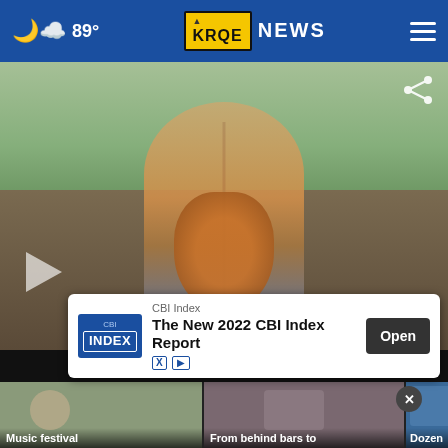89° KRQE NEWS
[Figure (photo): Woman playing acoustic guitar and singing into a microphone on an outdoor stage at a music festival. Trees visible in background. Share icon in top right corner, play button in lower left.]
[Figure (photo): Thumbnail strip showing three video thumbnails: Music festival, From behind bars to, Dozen]
CBI Index
The New 2022 CBI Index Report
Open
Music festival
From behind bars to
Dozen